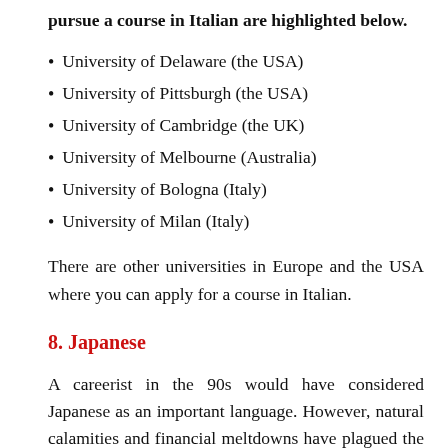pursue a course in Italian are highlighted below.
University of Delaware (the USA)
University of Pittsburgh (the USA)
University of Cambridge (the UK)
University of Melbourne (Australia)
University of Bologna (Italy)
University of Milan (Italy)
There are other universities in Europe and the USA where you can apply for a course in Italian.
8. Japanese
A careerist in the 90s would have considered Japanese as an important language. However, natural calamities and financial meltdowns have plagued the country. But, over the years, it has again shown the world that